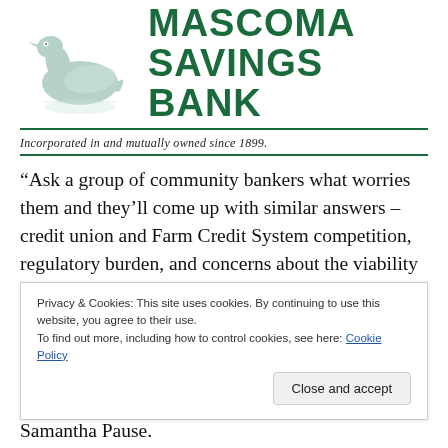[Figure (logo): Mascoma Savings Bank logo with a loon bird illustration and bank name in dark green bold text]
Incorporated in and mutually owned since 1899.
“Ask a group of community bankers what worries them and they’ll come up with similar answers – credit union and Farm Credit System competition, regulatory burden, and concerns about the viability of community banks,” according to Jeff Plagge, President and CEO of Northwest
Privacy & Cookies: This site uses cookies. By continuing to use this website, you agree to their use.
To find out more, including how to control cookies, see here: Cookie Policy
Samantha Pause.